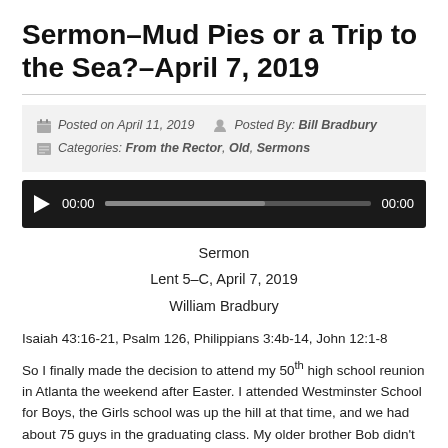Sermon–Mud Pies or a Trip to the Sea?–April 7, 2019
Posted on April 11, 2019   Posted By: Bill Bradbury
Categories: From the Rector, Old, Sermons
[Figure (screenshot): Audio player with play button, time counter showing 00:00, progress bar, and end time 00:00]
Sermon
Lent 5–C, April 7, 2019
William Bradbury
Isaiah 43:16-21, Psalm 126, Philippians 3:4b-14, John 12:1-8
So I finally made the decision to attend my 50th high school reunion in Atlanta the weekend after Easter. I attended Westminster School for Boys, the Girls school was up the hill at that time, and we had about 75 guys in the graduating class. My older brother Bob didn't